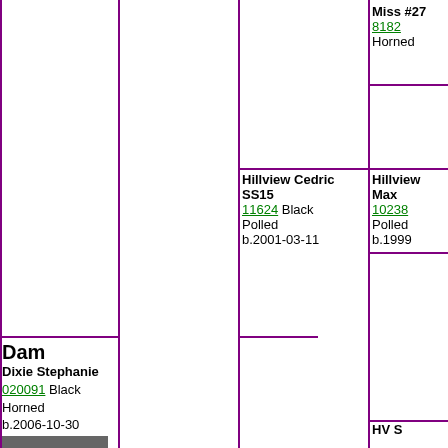Dam
Dixie Stephanie
020091 Black Horned
b.2006-10-30
[Figure (photo): Photo of a black cow standing outdoors]
Miss #27
8182
Horned
Hillview Max
10238
Polled
b.1999-
Hillview Cedric SS15
11624 Black Polled
b.2001-03-11
HV S